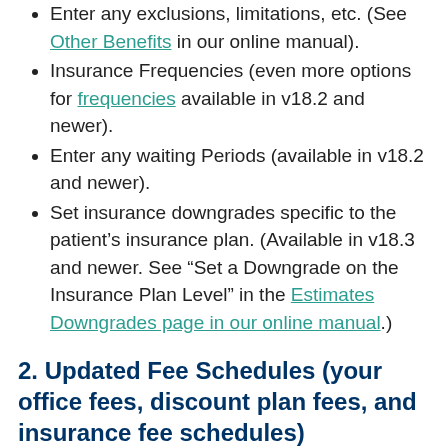Enter any exclusions, limitations, etc. (See Other Benefits in our online manual).
Insurance Frequencies (even more options for frequencies available in v18.2 and newer).
Enter any waiting Periods (available in v18.2 and newer).
Set insurance downgrades specific to the patient's insurance plan. (Available in v18.3 and newer. See “Set a Downgrade on the Insurance Plan Level” in the Estimates Downgrades page in our online manual.)
2. Updated Fee Schedules (your office fees, discount plan fees, and insurance fee schedules)
Treatment plan estimates rely on the accuracy of the attached fee schedules – whether it’s your office fees, discount plan fees, or insurance fee